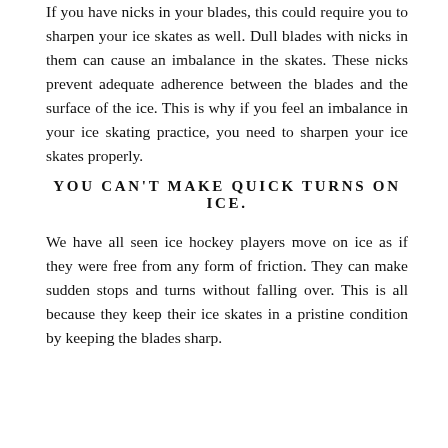If you have nicks in your blades, this could require you to sharpen your ice skates as well. Dull blades with nicks in them can cause an imbalance in the skates. These nicks prevent adequate adherence between the blades and the surface of the ice. This is why if you feel an imbalance in your ice skating practice, you need to sharpen your ice skates properly.
YOU CAN'T MAKE QUICK TURNS ON ICE.
We have all seen ice hockey players move on ice as if they were free from any form of friction. They can make sudden stops and turns without falling over. This is all because they keep their ice skates in a pristine condition by keeping the blades sharp.